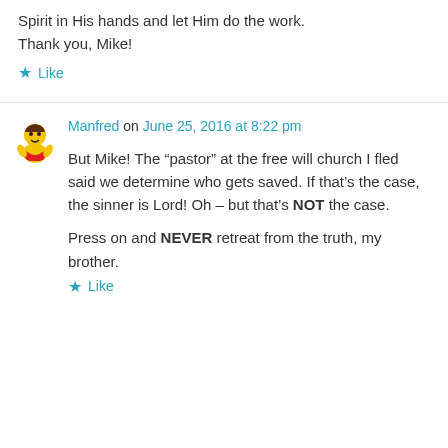Spirit in His hands and let Him do the work. Thank you, Mike!
Like
Manfred on June 25, 2016 at 8:22 pm
But Mike! The “pastor” at the free will church I fled said we determine who gets saved. If that’s the case, the sinner is Lord! Oh – but that’s NOT the case.
Press on and NEVER retreat from the truth, my brother.
Like